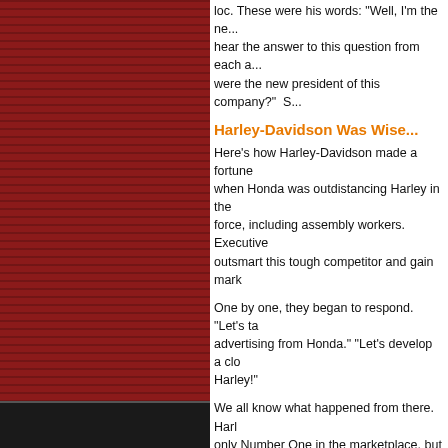loc. These were his words: "Well, I'm the new... hear the answer to this question from each a... were the new president of this company?"  S...
Harley-Davidson Was Wise...
Here's how Harley-Davidson made a fortune... when Honda was outdistancing Harley in the... force, including assembly workers. Executive... outsmart this tough competitor and gain mark...
One by one, they began to respond. "Let's ta... advertising from Honda." "Let's develop a clo... Harley!"
We all know what happened from there. Harl... only Number One in the marketplace, but it's... success to their greatest asset--the combined... offer motorcycles, equipment, testing produc... widgets, get out from behind your desk and a...
Leaders, Sales Pros and All Business Pro...
No matter what your job position may be ofte... your questions. This is especially true when y... an effort to dissolve conflict. "John, you have... your thoughts and opinions?"  "Those are my... this?" "Jane, I'm sensing you aren't yet convi...